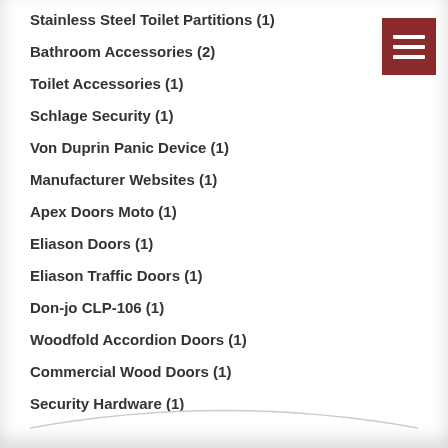Stainless Steel Toilet Partitions (1)
Bathroom Accessories (2)
Toilet Accessories (1)
Schlage Security (1)
Von Duprin Panic Device (1)
Manufacturer Websites (1)
Apex Doors Moto (1)
Eliason Doors (1)
Eliason Traffic Doors (1)
Don-jo CLP-106 (1)
Woodfold Accordion Doors (1)
Commercial Wood Doors (1)
Security Hardware (1)
[Figure (other): Dark red hamburger menu button with three horizontal white bars]